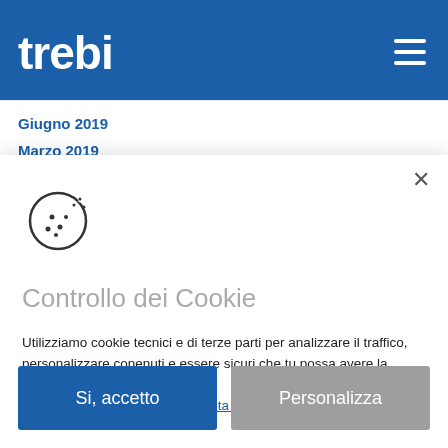[Figure (logo): Trebi company logo in white on blue header background]
Giugno 2019
Marzo 2019
[Figure (illustration): Cookie icon — circular cookie with dots/chips and a small bite taken out]
Controllo dei Cookie
Utilizziamo cookie tecnici e di terze parti per analizzare il traffico, personalizzare conenuti e essere sicuri che tu possa avere la migliore esperienza possibile.
Per maggiori informazioni consulta la nostra informativa.
Si, accetto
Personalizza